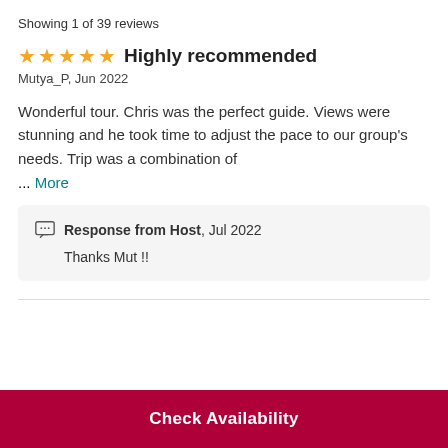Showing 1 of 39 reviews
Highly recommended
Mutya_P, Jun 2022
Wonderful tour. Chris was the perfect guide. Views were stunning and he took time to adjust the pace to our group's needs. Trip was a combination of
... More
Response from Host, Jul 2022
Thanks Mut !!
Check Availability